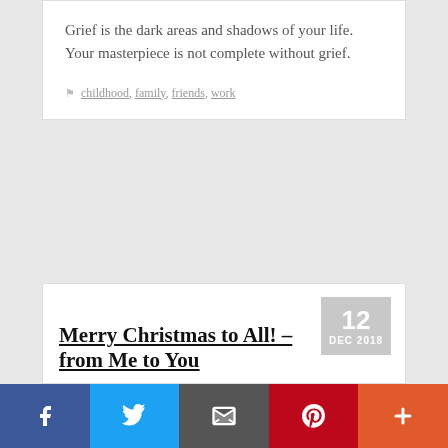Grief is the dark areas and shadows of your life. Your masterpiece is not complete without grief.
childhood, family, friends, work
Merry Christmas to All! – from Me to You
12 DEC 2018